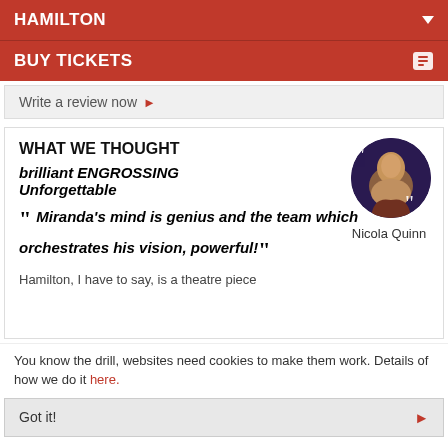HAMILTON
BUY TICKETS
Write a review now
WHAT WE THOUGHT
brilliant ENGROSSING Unforgettable
[Figure (photo): Circular profile photo of reviewer Nicola Quinn with quotation mark overlay]
Nicola Quinn
“ Miranda’s mind is genius and the team which orchestrates his vision, powerful! ”
Hamilton, I have to say, is a theatre piece
You know the drill, websites need cookies to make them work. Details of how we do it here.
Got it!